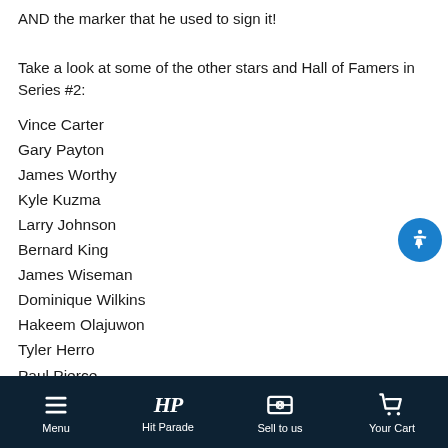AND the marker that he used to sign it!
Take a look at some of the other stars and Hall of Famers in Series #2:
Vince Carter
Gary Payton
James Worthy
Kyle Kuzma
Larry Johnson
Bernard King
James Wiseman
Dominique Wilkins
Hakeem Olajuwon
Tyler Herro
Paul Pierce
Menu  Hit Parade  Sell to us  Your Cart